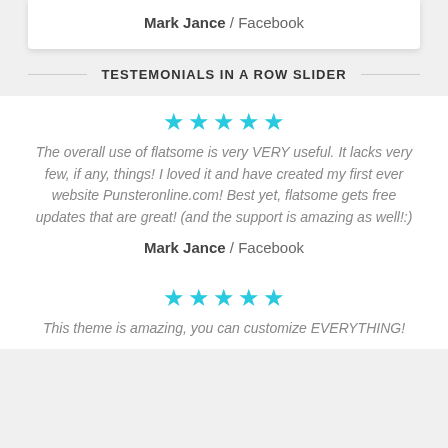Mark Jance / Facebook
TESTEMONIALS IN A ROW SLIDER
[Figure (other): Five cyan star rating icons]
The overall use of flatsome is very VERY useful. It lacks very few, if any, things! I loved it and have created my first ever website Punsteronline.com! Best yet, flatsome gets free updates that are great! (and the support is amazing as well!:)
Mark Jance / Facebook
[Figure (other): Five cyan star rating icons]
This theme is amazing, you can customize EVERYTHING!